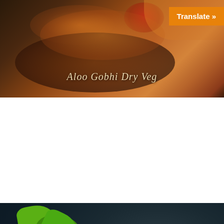[Figure (photo): Food photograph of Aloo Gobhi Dry Veg dish in a dark bowl, with an orange 'Translate »' button in the top right corner and the dish name overlaid in italic text]
Aloo Gobhi Dry Veg
[Figure (photo): Food/ingredients photograph showing fresh lettuce, green chili, onion half, ginger, lime wedge, mortar and pestle, and a silver bowl with yogurt/raita, arranged on a dark slate background, with a scroll-to-top button in the bottom right corner]